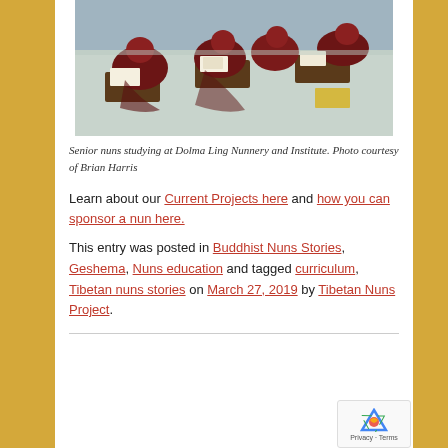[Figure (photo): Senior nuns in dark red robes studying at low wooden desks on a rug at Dolma Ling Nunnery and Institute, viewed from above and behind]
Senior nuns studying at Dolma Ling Nunnery and Institute. Photo courtesy of Brian Harris
Learn about our Current Projects here and how you can sponsor a nun here.
This entry was posted in Buddhist Nuns Stories, Geshema, Nuns education and tagged curriculum, Tibetan nuns stories on March 27, 2019 by Tibetan Nuns Project.